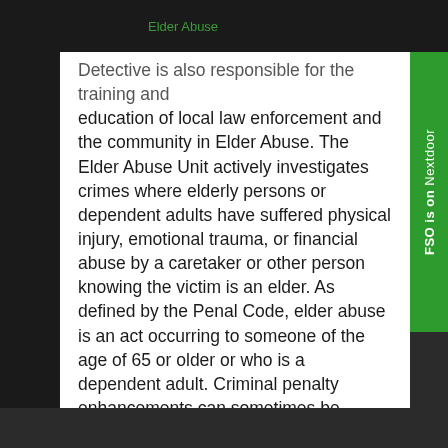Elder Abuse
Detective is also responsible for the training and education of local law enforcement and the community in Elder Abuse. The Elder Abuse Unit actively investigates crimes where elderly persons or dependent adults have suffered physical injury, emotional trauma, or financial abuse by a caretaker or other person knowing the victim is an elder. As defined by the Penal Code, elder abuse is an act occurring to someone of the age of 65 or older or who is a dependent adult. Criminal penalty enhancements can sometimes be brought against a perpetrator if the victim is older than the age of 70.
Types of Elder Abuse
Physical abuse includes assault, battery, assault with a deadly weapon, unreasonable physical constraint, prolonged or continual deprivation of food, water, and medical care.